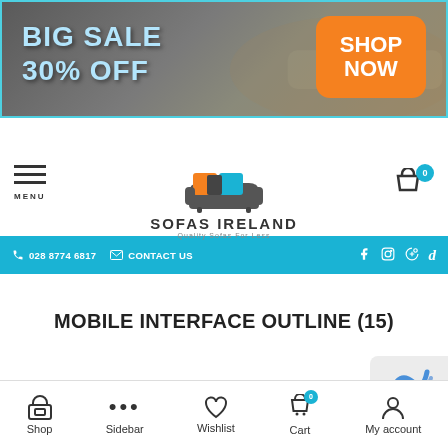[Figure (screenshot): Big Sale 30% OFF banner with Shop Now button on dark background. Sofas Ireland e-commerce website screenshot.]
028 8774 6817   CONTACT US   (social icons: Facebook, Instagram, Pinterest, TikTok)
[Figure (logo): Sofas Ireland logo with orange/blue/grey sofa icon and text 'SOFAS IRELAND Quality Sofas For Less']
Search for products
MOBILE INTERFACE OUTLINE (15)
Shop   Sidebar   Wishlist   Cart   My account